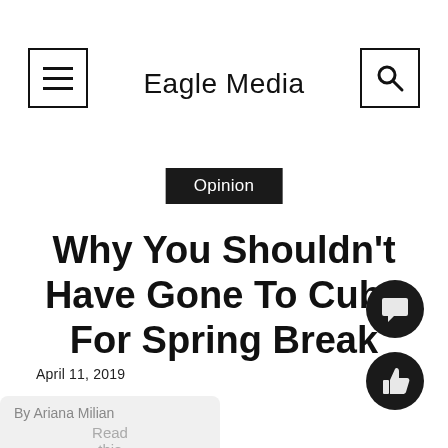Eagle Media
Opinion
Why You Shouldn't Have Gone To Cuba For Spring Break
April 11, 2019
By Ariana Milian